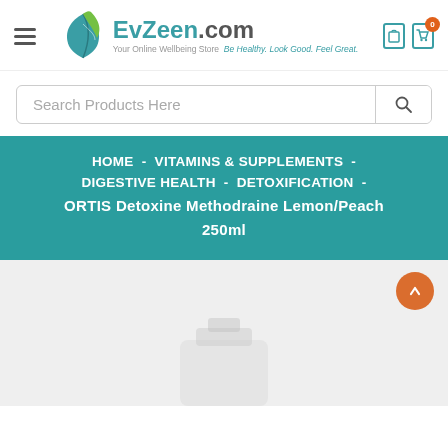EvZeen.com — Your Online Wellbeing Store. Be Healthy. Look Good. Feel Great.
Search Products Here
HOME - VITAMINS & SUPPLEMENTS - DIGESTIVE HEALTH - DETOXIFICATION - ORTIS Detoxine Methodraine Lemon/Peach 250ml
[Figure (photo): Product image area showing bottom portion of product on light grey background]